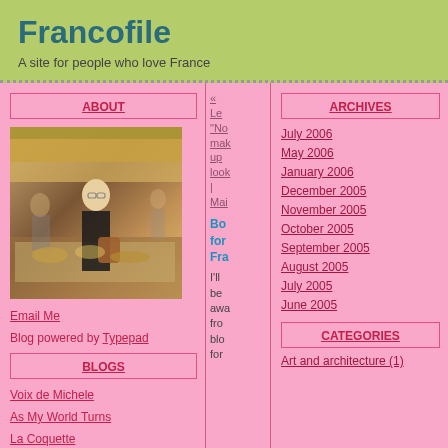Francofile
A site for people who love France
ABOUT
[Figure (photo): Woman with glasses and brown bag standing in front of a food market display]
Email Me
Blog powered by Typepad
BLOGS
Voix de Michele
As My World Turns
La Coquette
Put Your Flare On
« Le "No makeup look" | Main
Book for France
I'll be away from blogging for
ARCHIVES
July 2006
May 2006
January 2006
December 2005
November 2005
October 2005
September 2005
August 2005
July 2005
June 2005
CATEGORIES
Art and architecture (1)